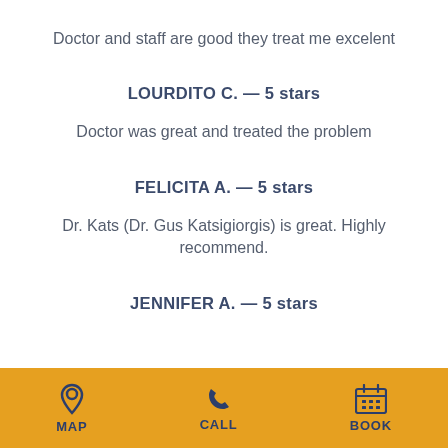Doctor and staff are good they treat me excelent
LOURDITO C. — 5 stars
Doctor was great and treated the problem
FELICITA A. — 5 stars
Dr. Kats (Dr. Gus Katsigiorgis) is great. Highly recommend.
JENNIFER A. — 5 stars
MAP   CALL   BOOK